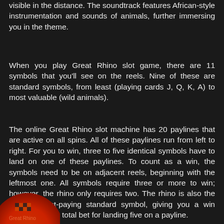visible in the distance. The soundtrack features African-style instrumentation and sounds of animals, further immersing you in the theme.
When you play Great Rhino slot game, there are 11 symbols that you'll see on the reels. Nine of these are standard symbols, from least (playing cards J, Q, K, A) to most valuable (wild animals).
The online Great Rhino slot machine has 20 paylines that are active on all spins. All of these paylines run from left to right. For you to win, three to five identical symbols have to land on one of these paylines. To count as a win, the symbols need to be on adjacent reels, beginning with the leftmost one. All symbols require three or more to win; however, the rhino only requires two. The rhino is also the slot's highest-paying standard symbol, giving you a win worth 20x your total bet for landing five on a payline.
[Figure (logo): Circular logo with orange and red gradient, checkered pattern element, partially visible at bottom left of page]